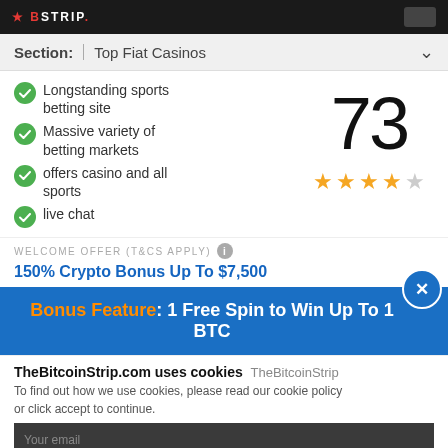TheBitcoinStrip - Top Fiat Casinos
Section: Top Fiat Casinos
Longstanding sports betting site
Massive variety of betting markets
offers casino and all sports
live chat
[Figure (other): Score display showing 73 with 3.5 out of 5 stars rating]
WELCOME OFFER (T&CS APPLY)
150% Crypto Bonus Up To $7,500
Bonus Feature: 1 Free Spin to Win Up To 1 BTC
TheBitcoinStrip.com uses cookies TheBitcoinStrip
To find out how we use cookies, please read our cookie policy or click accept to continue.
CLAIM NOW
View policy
ACCEPT
18+ OVER 18 ONLY. TERMS & CONDITIONS APPLY.